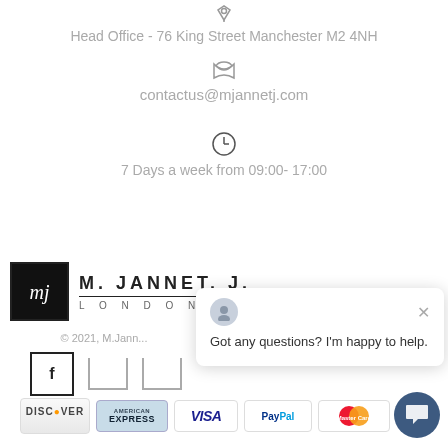Head Office - 76 King Street Manchester M2 4NH
contactus@mjannetj.com
7 Days a week from 09:00- 17:00
[Figure (logo): M. JANNET. J. LONDON brand logo with cursive monogram in black box]
© 2021, M.Jann...
[Figure (other): Social media icons: Facebook, and two bracket icons]
[Figure (other): Payment icons: Discover, American Express, Visa, PayPal, MasterCard]
Got any questions? I'm happy to help.